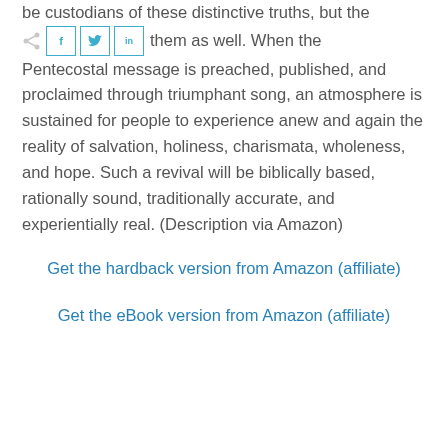be custodians of these distinctive truths, but the
them as well. When the Pentecostal message is preached, published, and proclaimed through triumphant song, an atmosphere is sustained for people to experience anew and again the reality of salvation, holiness, charismata, wholeness, and hope. Such a revival will be biblically based, rationally sound, traditionally accurate, and experientially real. (Description via Amazon)
Get the hardback version from Amazon (affiliate)
Get the eBook version from Amazon (affiliate)